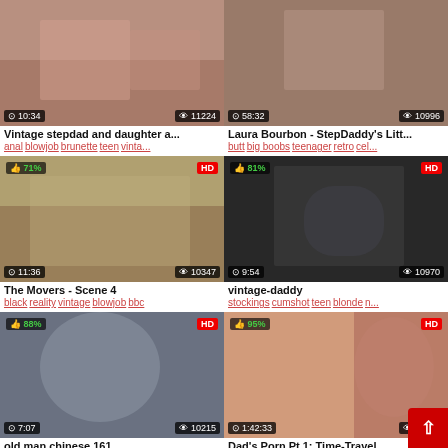[Figure (screenshot): Thumbnail 1: Vintage stepdad scene, duration 10:34, views 11224]
Vintage stepdad and daughter a...
anal blowjob brunette teen vinta...
[Figure (screenshot): Thumbnail 2: Laura Bourbon StepDaddy scene, duration 58:32, views 10996]
Laura Bourbon - StepDaddy's Litt...
butt big boobs teenager retro cel...
[Figure (screenshot): Thumbnail 3: The Movers Scene 4, 71% like, HD, duration 11:36, views 10347]
The Movers - Scene 4
black reality vintage blowjob bbc
[Figure (screenshot): Thumbnail 4: vintage-daddy, 81% like, HD, duration 9:54, views 10970]
vintage-daddy
stockings cumshot teen blonde n...
[Figure (screenshot): Thumbnail 5: old man chinese 161, 88% like, HD, duration 7:07, views 10215]
old man chinese 161
asian old man daddy amateur w...
[Figure (screenshot): Thumbnail 6: Dad's Porn Pt.1 Time-Travel, 95% like, HD, duration 1:42:33, views 11799]
Dad's Porn Pt.1: Time-Travel...
hungarian retro big tits cleopatra...